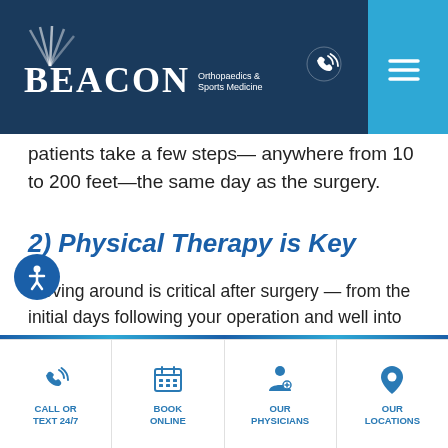[Figure (logo): Beacon Orthopaedics & Sports Medicine logo with white text on dark blue header background, phone icon and hamburger menu]
patients take a few steps— anywhere from 10 to 200 feet—the same day as the surgery.
2) Physical Therapy is Key
Moving around is critical after surgery — from the initial days following your operation and well into the coming weeks and months. The more you move, the better the long-term outcome. Most patients will see a physical therapist following their procedure and will be asked to practice exercises on their own.